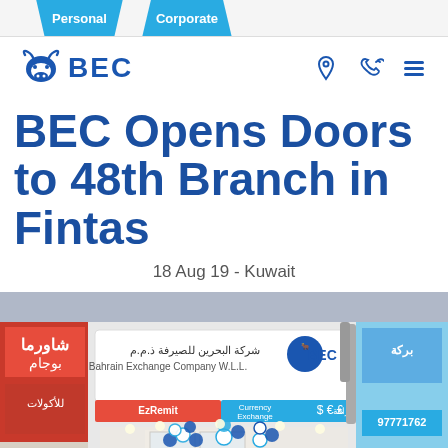Personal  Corporate
[Figure (logo): BEC (Bahrain Exchange Company) logo with bull horns icon]
BEC Opens Doors to 48th Branch in Fintas
18 Aug 19 - Kuwait
[Figure (photo): BEC Bahrain Exchange Company W.L.L. branch storefront in Fintas, Kuwait. Signage includes Arabic text, EzRemit and Currency Exchange services, BEC logo. Blue and white balloons at entrance. Adjacent shops with Arabic signage and phone number 97771762.]